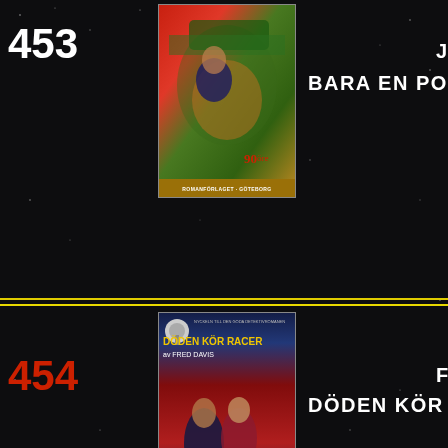453
[Figure (photo): Book cover for 'Bara En Polis' showing a man being chased by a car, pulp fiction style, 90 öre price, Romanförlaget Göteborg publisher]
BARA EN POLIS
[Figure (photo): Book cover for 'Döden Kör Racer' by Fred Davis, pulp detective novel, showing man and woman near car, 90 öre price, Romanförlaget Göteborg publisher]
454
DÖDEN KÖR RACER
[Figure (photo): Book cover for 'Krig i China Town' by A.E. Apple, pulp detective novel, red and yellow cover design, Romanförlaget publisher]